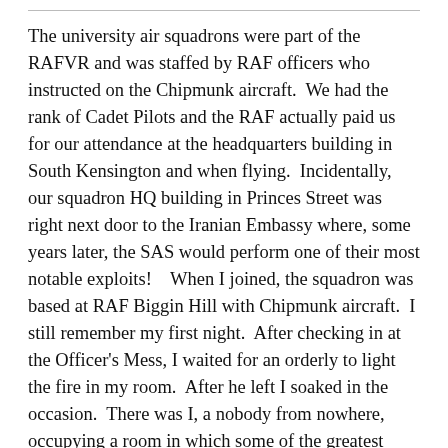The university air squadrons were part of the RAFVR and was staffed by RAF officers who instructed on the Chipmunk aircraft.  We had the rank of Cadet Pilots and the RAF actually paid us for our attendance at the headquarters building in South Kensington and when flying.  Incidentally, our squadron HQ building in Princes Street was right next door to the Iranian Embassy where, some years later, the SAS would perform one of their most notable exploits!   When I joined, the squadron was based at RAF Biggin Hill with Chipmunk aircraft.  I still remember my first night.  After checking in at the Officer's Mess, I waited for an orderly to light the fire in my room.  After he left I soaked in the occasion.  There was I, a nobody from nowhere, occupying a room in which some of the greatest heroes of the Second World War had spent time.  Some of these brave men would have left the room during the day and later a fellow officer would have entered to collect personal effects!  I felt very humble but also exhilarated at my good fortune.  In my